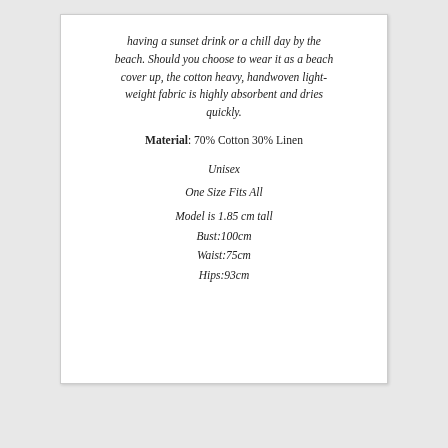having a sunset drink or a chill day by the beach. Should you choose to wear it as a beach cover up, the cotton heavy, handwoven lightweight fabric is highly absorbent and dries quickly.
Material: 70% Cotton 30% Linen
Unisex
One Size Fits All
Model is 1.85 cm tall
Bust:100cm
Waist:75cm
Hips:93cm